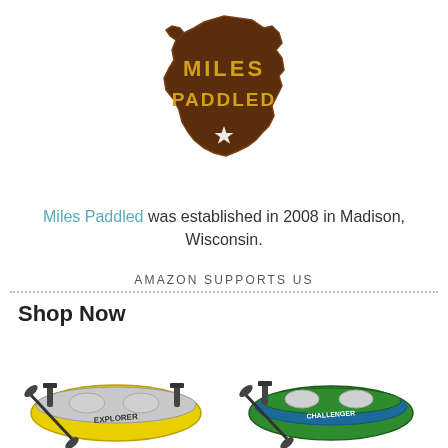[Figure (logo): Miles Paddled logo: Wisconsin state shape in dark brown wood with gold text reading MILES PADDLED and a white star]
Miles Paddled was established in 2008 in Madison, Wisconsin.
AMAZON SUPPORTS US
Shop Now
[Figure (photo): Two inflatable kayaks side by side: a yellow Intex Explorer K2 kayak on the left and a green Intex Challenger K2 kayak on the right, each with paddles and a pump]